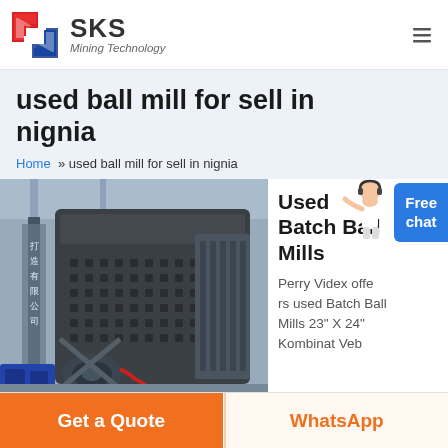[Figure (logo): SKS Mining Technology logo with red/blue geometric icon and company name]
used ball mill for sell in nignia
Home » used ball mill for sell in nignia
[Figure (photo): Large industrial ball mill machine photographed in a factory/warehouse setting with Chinese signage visible]
Used Batch Ball Mills
Perry Videx offers used Batch Ball Mills 23" X 24" Kombinat Veb
Get a Quote
WhatsApp